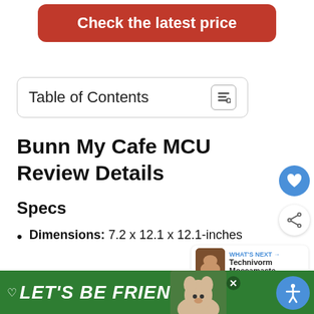[Figure (screenshot): Red 'Check the latest price' button]
Table of Contents
Bunn My Cafe MCU Review Details
Specs
Dimensions: 7.2 x 12.1 x 12.1-inches
[Figure (screenshot): Bottom green ad banner: LET'S BE FRIENDS with dog image and accessibility button]